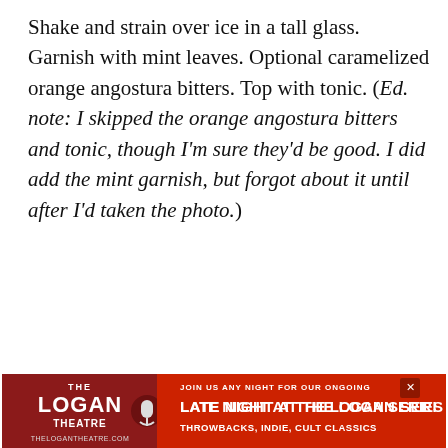Shake and strain over ice in a tall glass. Garnish with mint leaves. Optional caramelized orange angostura bitters. Top with tonic. (Ed. note: I skipped the orange angostura bitters and tonic, though I'm sure they'd be good. I did add the mint garnish, but forgot about it until after I'd taken the photo.)
[Figure (infographic): Advertisement for Free Virtual Programs from the Poetry Foundation, featuring illustrated people and a red wave graphic, with a small X close button]
[Figure (infographic): Advertisement for The Logan Theatre: Join us any night for our ongoing Late Night at the Logan Series - Throwbacks, Indie, Cult Classics. Website: thelogantheatre.com]